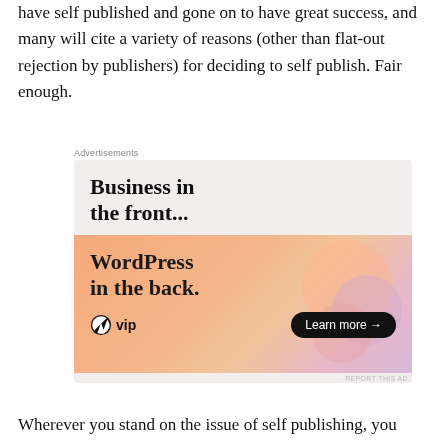have self published and gone on to have great success, and many will cite a variety of reasons (other than flat-out rejection by publishers) for deciding to self publish. Fair enough.
[Figure (other): Advertisement banner for WordPress VIP. Top half shows text 'Business in the front...' on a light gray/pink background. Bottom half shows 'WordPress in the back.' on an orange/peach gradient background with decorative blobs, WordPress VIP logo, and a 'Learn more →' button.]
Wherever you stand on the issue of self publishing, you